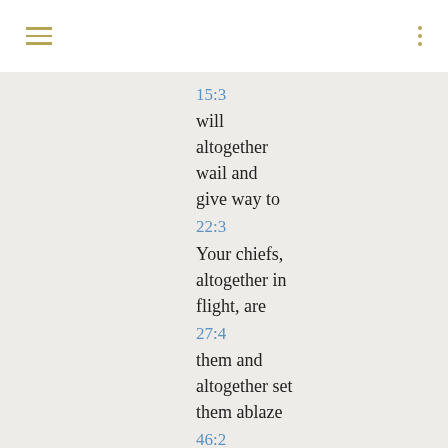15:3
will altogether wail and give way to
22:3
Your chiefs, altogether in flight, are
27:4
them and altogether set them ablaze
46:2
gods altogether sag and bow down
56:10